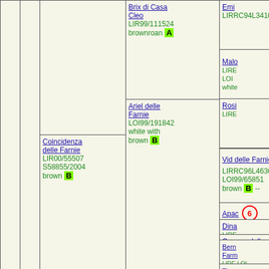|  |  | Brix di Casa Cleo LIR99/111524 brownroan A | Emi LIRRC94L3410 | Malo LIRE LOI white |
|  |  | Brix di Casa Cleo LIR99/111524 brownroan A | Emi LIRRC94L3410 | Rosi LIRE |
|  | Coincidenza delle Farnie LIR00/55507 S58855/2004 brown B | Ariel delle Farnie LOI99/191842 white with brown B | Vid delle Farnie ⑤ LIRRC96L4636 LOI99/65851 brown B -- | Apac ⑥ LIRE |
|  |  |  |  | Dina LIRE |
|  |  |  | Creamy delle Farnie LIRRC97L5598 LOI99/191840 brownroan C | Bern Farm LIRE LOI white |
|  |  |  |  | Thur Farm LIRE FIN |